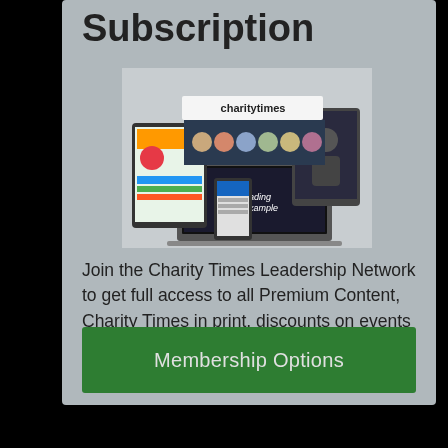Subscription
[Figure (screenshot): Image of Charity Times media products including tablets, magazines, and a laptop showing 'charitytimes' branding and 'Leading by example' headline]
Join the Charity Times Leadership Network to get full access to all Premium Content, Charity Times in print, discounts on events and much more!
Membership Options
No Thanks!